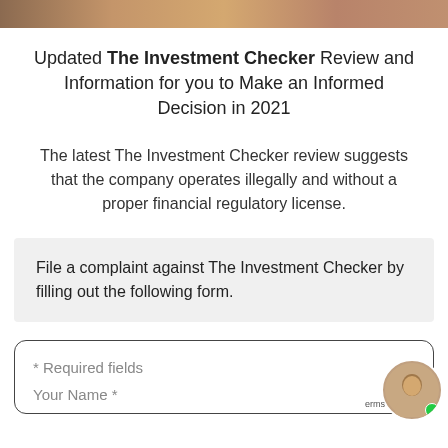[Figure (photo): Partial banner image strip at top of page showing people or faces, cropped]
Updated The Investment Checker Review and Information for you to Make an Informed Decision in 2021
The latest The Investment Checker review suggests that the company operates illegally and without a proper financial regulatory license.
File a complaint against The Investment Checker by filling out the following form.
* Required fields
Your Name *